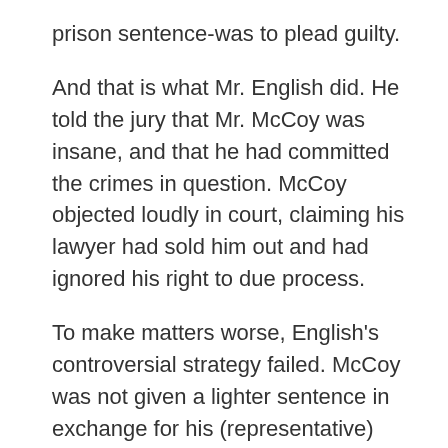prison sentence-was to plead guilty.
And that is what Mr. English did. He told the jury that Mr. McCoy was insane, and that he had committed the crimes in question. McCoy objected loudly in court, claiming his lawyer had sold him out and had ignored his right to due process.
To make matters worse, English's controversial strategy failed. McCoy was not given a lighter sentence in exchange for his (representative) guilty plea. He is now facing execution.
The case has now made its way to the U.S. Supreme Court, which will consider whether it was unconstitutional for English to plead his client's guilt without his client's consent. It will also decide whether McCoy deserves a new trial.